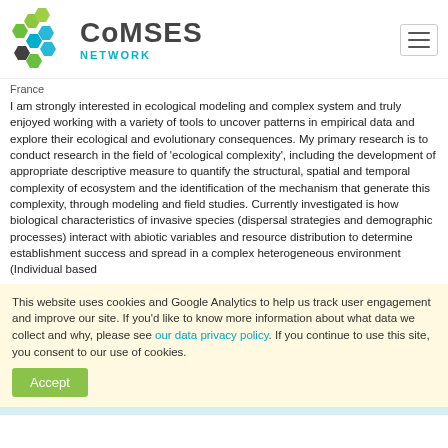[Figure (logo): CoMSES Network logo with hexagonal nodes graphic in green, blue, and dark colors, alongside bold text 'CoMSES' and teal 'NETWORK' subtitle]
France
I am strongly interested in ecological modeling and complex system and truly enjoyed working with a variety of tools to uncover patterns in empirical data and explore their ecological and evolutionary consequences. My primary research is to conduct research in the field of 'ecological complexity', including the development of appropriate descriptive measure to quantify the structural, spatial and temporal complexity of ecosystem and the identification of the mechanism that generate this complexity, through modeling and field studies. Currently investigated is how biological characteristics of invasive species (dispersal strategies and demographic processes) interact with abiotic variables and resource distribution to determine establishment success and spread in a complex heterogeneous environment (Individual based
This website uses cookies and Google Analytics to help us track user engagement and improve our site. If you'd like to know more information about what data we collect and why, please see our data privacy policy. If you continue to use this site, you consent to our use of cookies.